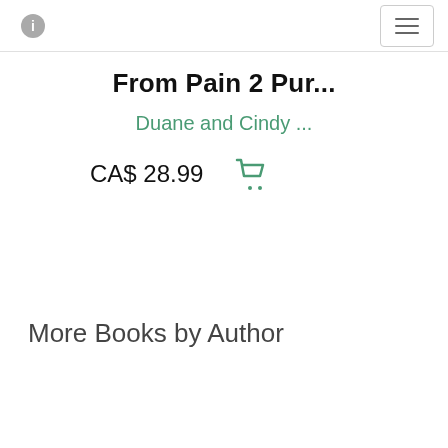From Pain 2 Pur...
Duane and Cindy ...
CA$ 28.99
More Books by Author